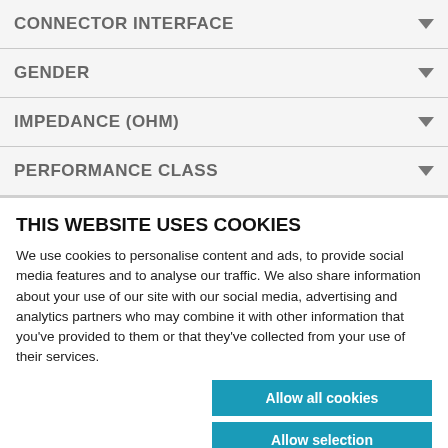CONNECTOR INTERFACE
GENDER
IMPEDANCE (OHM)
PERFORMANCE CLASS
THIS WEBSITE USES COOKIES
We use cookies to personalise content and ads, to provide social media features and to analyse our traffic. We also share information about your use of our site with our social media, advertising and analytics partners who may combine it with other information that you've provided to them or that they've collected from your use of their services.
Allow all cookies
Allow selection
Use necessary cookies only
Necessary  Preferences  Statistics  Marketing  Show details